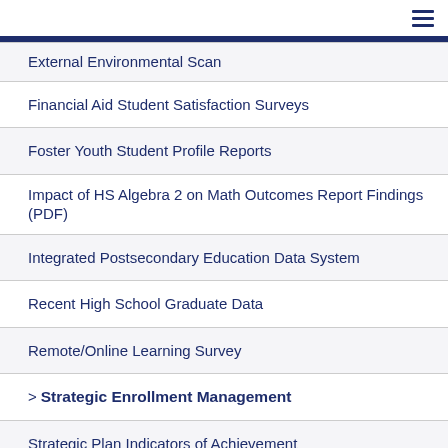External Environmental Scan
Financial Aid Student Satisfaction Surveys
Foster Youth Student Profile Reports
Impact of HS Algebra 2 on Math Outcomes Report Findings (PDF)
Integrated Postsecondary Education Data System
Recent High School Graduate Data
Remote/Online Learning Survey
> Strategic Enrollment Management
Strategic Plan Indicators of Achievement
Student Mental Health Survey
Student Profile Reports